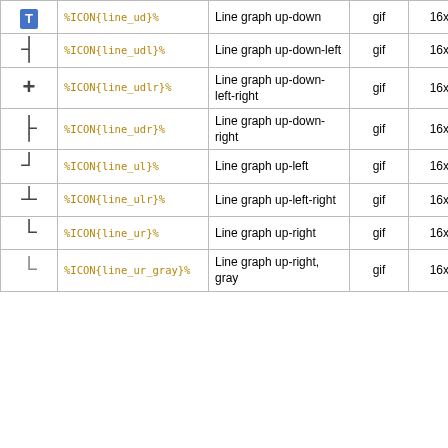| Icon | Macro | Description | Type | Size |
| --- | --- | --- | --- | --- |
| ↕ (line_ud) | %ICON{line_ud}% | Line graph up-down | gif | 16x16 |
| ┤ (line_udl) | %ICON{line_udl}% | Line graph up-down-left | gif | 16x16 |
| + (line_udlr) | %ICON{line_udlr}% | Line graph up-down-left-right | gif | 16x16 |
| ├ (line_udr) | %ICON{line_udr}% | Line graph up-down-right | gif | 16x16 |
| ┘ (line_ul) | %ICON{line_ul}% | Line graph up-left | gif | 16x16 |
| ┴ (line_ulr) | %ICON{line_ulr}% | Line graph up-left-right | gif | 16x16 |
| └ (line_ur) | %ICON{line_ur}% | Line graph up-right | gif | 16x16 |
| └ (line_ur_gray) | %ICON{line_ur_gray}% | Line graph up-right, gray | gif | 16x16 |